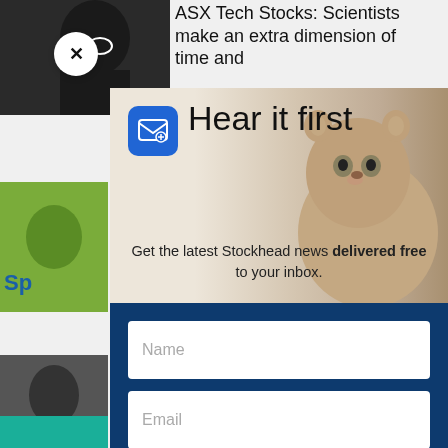[Figure (screenshot): Background webpage showing article headlines and images from Stockhead website, partially obscured by a newsletter signup modal overlay]
ASX Tech Stocks: Scientists make an extra dimension of time and
[Figure (photo): Newsletter signup modal popup with marmot/groundhog photo background, email icon, 'Hear it first' heading, subtitle text, name and email input fields, and Sign Me Up button]
Hear it first
Get the latest Stockhead news delivered free to your inbox.
Name
Email
SIGN ME UP